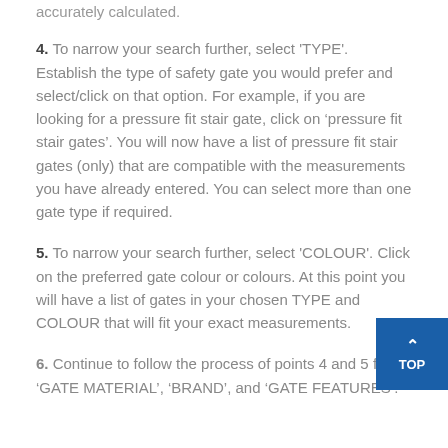accurately calculated.
4. To narrow your search further, select 'TYPE'. Establish the type of safety gate you would prefer and select/click on that option. For example, if you are looking for a pressure fit stair gate, click on ‘pressure fit stair gates’. You will now have a list of pressure fit stair gates (only) that are compatible with the measurements you have already entered. You can select more than one gate type if required.
5. To narrow your search further, select 'COLOUR'. Click on the preferred gate colour or colours. At this point you will have a list of gates in your chosen TYPE and COLOUR that will fit your exact measurements.
6. Continue to follow the process of points 4 and 5 for ‘GATE MATERIAL’, ‘BRAND’, and ‘GATE FEATURES’.